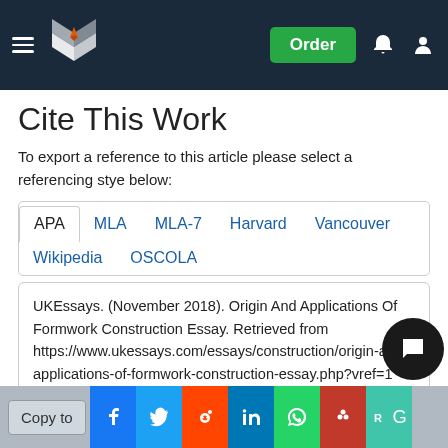UKEssays navigation bar with logo, Order button, notification and account icons
Cite This Work
To export a reference to this article please select a referencing stye below:
APA  MLA  MLA-7  Harvard  Vancouver  Wikipedia  OSCOLA
UKEssays. (November 2018). Origin And Applications Of Formwork Construction Essay. Retrieved from https://www.ukessays.com/essays/construction/origin-and-applications-of-formwork-construction-essay.php?vref=1
Copy to [social share buttons: Facebook, Twitter, Reddit, LinkedIn, WhatsApp, Mendeley, ResearchGate]